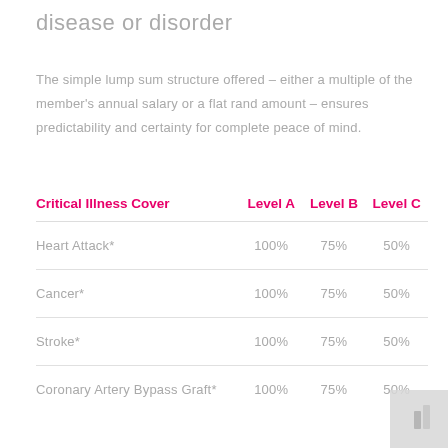disease or disorder
The simple lump sum structure offered – either a multiple of the member's annual salary or a flat rand amount – ensures predictability and certainty for complete peace of mind.
| Critical Illness Cover | Level A | Level B | Level C |
| --- | --- | --- | --- |
| Heart Attack* | 100% | 75% | 50% |
| Cancer* | 100% | 75% | 50% |
| Stroke* | 100% | 75% | 50% |
| Coronary Artery Bypass Graft* | 100% | 75% | 50% |